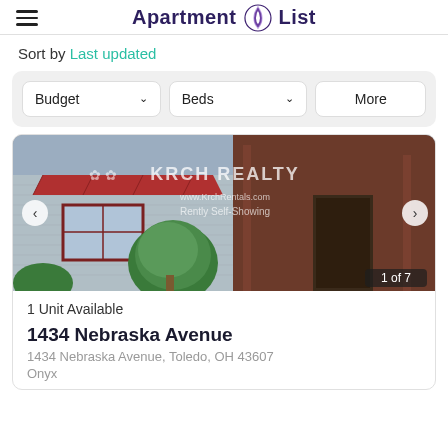Apartment List
Sort by Last updated
Budget | Beds | More
[Figure (photo): Exterior photo of a house at 1434 Nebraska Avenue showing a blue siding building with red awning and KRCH Realty branding overlay, labeled 1 of 7]
1 Unit Available
1434 Nebraska Avenue
1434 Nebraska Avenue, Toledo, OH 43607
Onyx